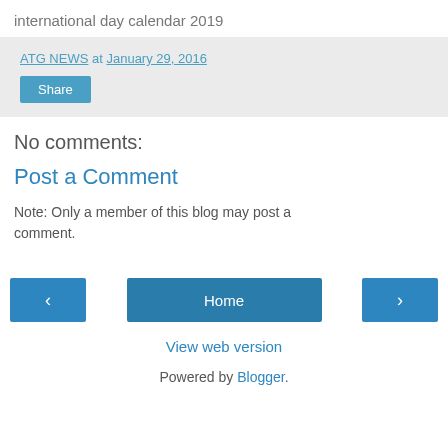international day calendar 2019
ATG NEWS at January 29, 2016
Share
No comments:
Post a Comment
Note: Only a member of this blog may post a comment.
‹  Home  ›
View web version
Powered by Blogger.